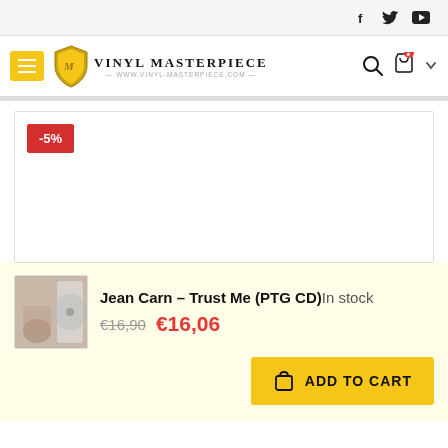Vinyl Masterpiece — www.vinyl-masterpiece.com
[Figure (screenshot): Product image box with -5% discount badge, white background, no product image shown]
Jean Carn – Trust Me (PTG CD) In stock €16,90 €16,06
ADD TO CART